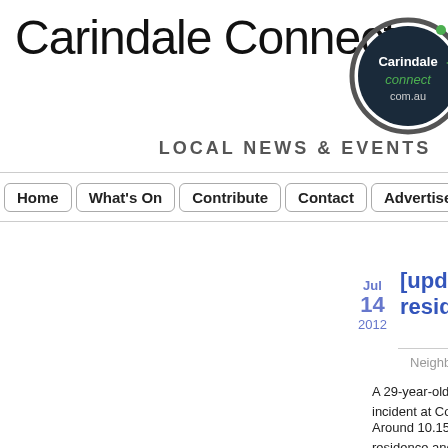Carindale Connect
[Figure (logo): Carindale Connect circular logo with dark background showing 'Carindale connect com.au' in white and green text]
LOCAL NEWS & EVENTS
Home | What's On | Contribute | Contact | Advertise | Local R
Jul 14 2012
[update resident
Neighb
A 29-year-old Morning incident at Coorparoo
Around 10.15pm, two residence and threate before stealing a hand